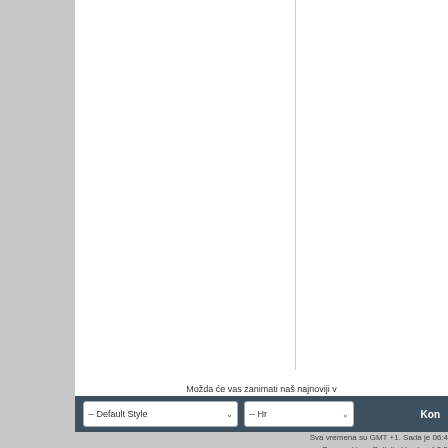[Figure (screenshot): White content area with a vertical dividing line, representing a web forum page layout]
Možda će vas zanimati naš najnoviji v
You need Flash player 8+ and JavaScript enabled
-- Default Style   -- Hr   Kon
Sva vremena su GMT +1. Sada je 06:4
Powered by: vBulletin Version 4.2.5
Copyright ©2000 - 2022, Jelsoft Enterprise